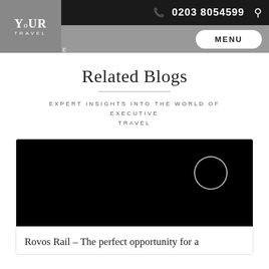YOUR TRAVEL CORPORATE | 0203 8054599 | MENU
Related Blogs
EXPERT INSIGHTS INTO THE WORLD OF EXECUTIVE TRAVEL
[Figure (photo): Dark/black image with a white circle outline (play button) in the upper right area of the image]
Rovos Rail – The perfect opportunity for a